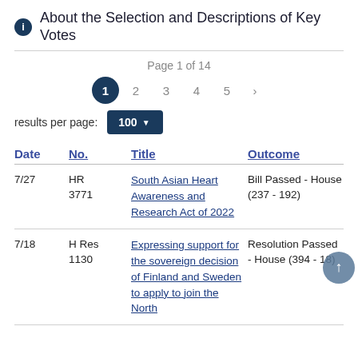About the Selection and Descriptions of Key Votes
Page 1 of 14
1  2  3  4  5  >
results per page: 100
| Date | No. | Title | Outcome |
| --- | --- | --- | --- |
| 7/27 | HR 3771 | South Asian Heart Awareness and Research Act of 2022 | Bill Passed - House (237 - 192) |
| 7/18 | H Res 1130 | Expressing support for the sovereign decision of Finland and Sweden to apply to join the North... | Resolution Passed - House (394 - 18) |